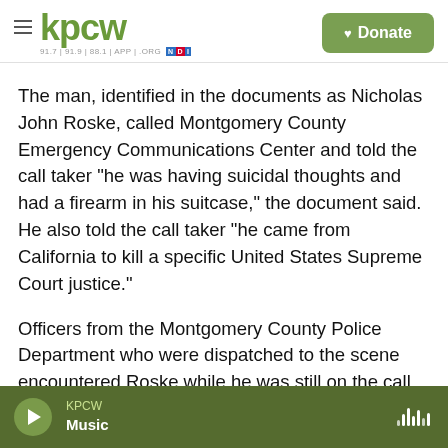KPCW — 91.7 | 91.9 | 88.1 | APP | .ORG | NDI — Donate
The man, identified in the documents as Nicholas John Roske, called Montgomery County Emergency Communications Center and told the call taker "he was having suicidal thoughts and had a firearm in his suitcase," the document said. He also told the call taker "he came from California to kill a specific United States Supreme Court justice."
Officers from the Montgomery County Police Department who were dispatched to the scene encountered Roske while he was still on the call. He was taken into custody without incident.
KPCW Music